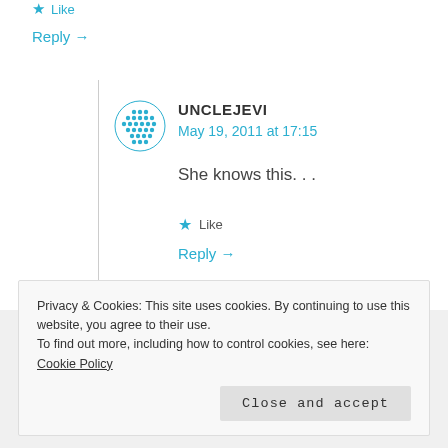★ Like
Reply →
UNCLEJEVI
May 19, 2011 at 17:15
She knows this. . .
★ Like
Reply →
Privacy & Cookies: This site uses cookies. By continuing to use this website, you agree to their use.
To find out more, including how to control cookies, see here: Cookie Policy
Close and accept